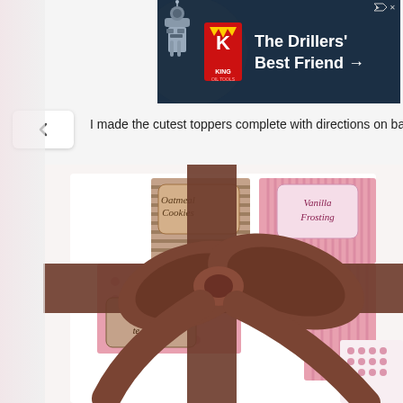[Figure (screenshot): Advertisement banner for King Oil Tools - The Drillers' Best Friend, showing a robot/drill figure and King logo on dark blue background]
I made the cutest toppers complete with directions on back!
[Figure (photo): Gift box with decorative pink and brown patterned recipe cards/toppers labeled 'Oatmeal Cookies', 'Vanilla Frosting', 'Chocolate Truffles', tied with a large brown satin bow]